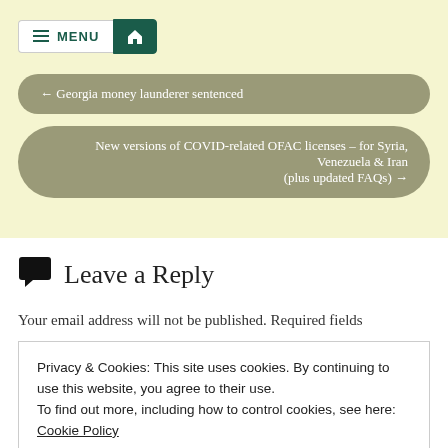MENU [home icon]
← Georgia money launderer sentenced
New versions of COVID-related OFAC licenses – for Syria, Venezuela & Iran (plus updated FAQs) →
Leave a Reply
Your email address will not be published. Required fields
Privacy & Cookies: This site uses cookies. By continuing to use this website, you agree to their use.
To find out more, including how to control cookies, see here: Cookie Policy
Close and accept